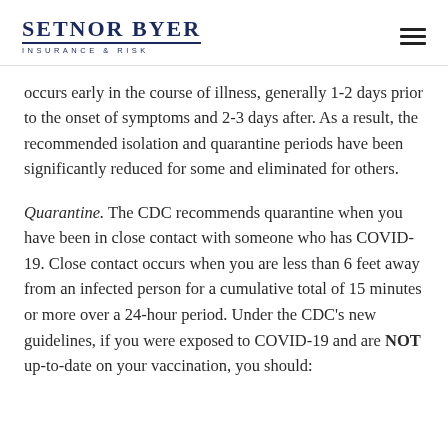SETNOR BYER INSURANCE & RISK
occurs early in the course of illness, generally 1-2 days prior to the onset of symptoms and 2-3 days after. As a result, the recommended isolation and quarantine periods have been significantly reduced for some and eliminated for others.
Quarantine. The CDC recommends quarantine when you have been in close contact with someone who has COVID-19. Close contact occurs when you are less than 6 feet away from an infected person for a cumulative total of 15 minutes or more over a 24-hour period. Under the CDC's new guidelines, if you were exposed to COVID-19 and are NOT up-to-date on your vaccination, you should: